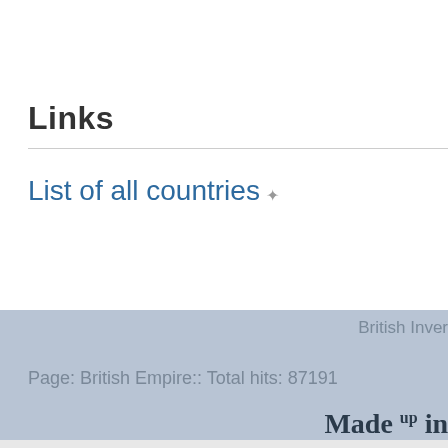Links
List of all countries
British Inver
Page: British Empire:: Total hits: 87191
Made up in